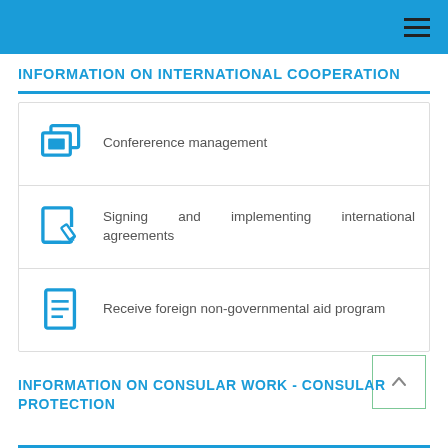INFORMATION ON INTERNATIONAL COOPERATION
Confererence management
Signing and implementing international agreements
Receive foreign non-governmental aid program
INFORMATION ON CONSULAR WORK - CONSULAR PROTECTION